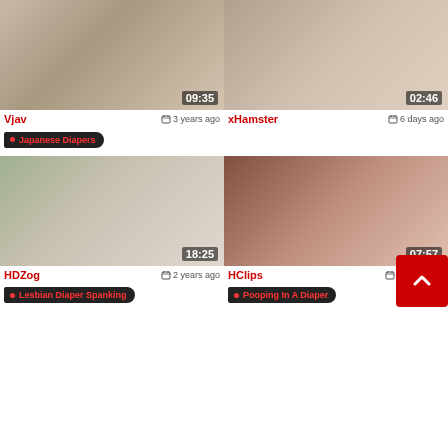[Figure (screenshot): Video thumbnail top-left, duration 09:35]
[Figure (screenshot): Video thumbnail top-right, duration 02:46]
Vjav   3 years ago
xHamster   6 days ago
Japanese Diapers
[Figure (screenshot): Video thumbnail bottom-left, duration 18:25]
[Figure (screenshot): Video thumbnail bottom-right, duration 07:57]
HDZog   2 years ago
HClips   6 years ago
Lesbian Diaper Spanking
Pooping In A Diaper